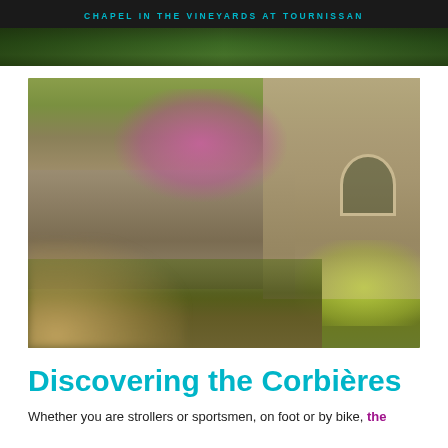CHAPEL IN THE VINEYARDS AT TOURNISSAN
[Figure (photo): Top cropped vineyard/foliage photo with dark overlay]
[Figure (photo): Stone chapel building with pink flowering trees and vineyard rows at Tournissan, Corbières region]
Discovering the Corbières
Whether you are strollers or sportsmen, on foot or by bike, the